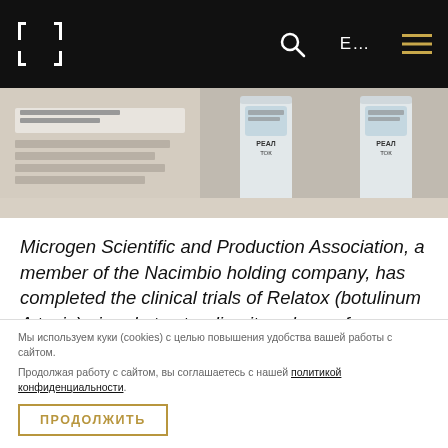Microgen Scientific and Production Association website navigation header with logo, search, language switcher (E...), and menu icon
[Figure (photo): Close-up photo of pharmaceutical vials labeled RELATOX on a light surface with packaging documents]
Microgen Scientific and Production Association, a member of the Nacimbio holding company, has completed the clinical trials of Relatox (botulinum A toxin) aimed at extending its sphere of application. Its therapeutic efficiency
Мы используем куки (cookies) с целью повышения удобства вашей работы с сайтом.
Продолжая работу с сайтом, вы соглашаетесь с нашей политикой конфиденциальности.
ПРОДОЛЖИТЬ